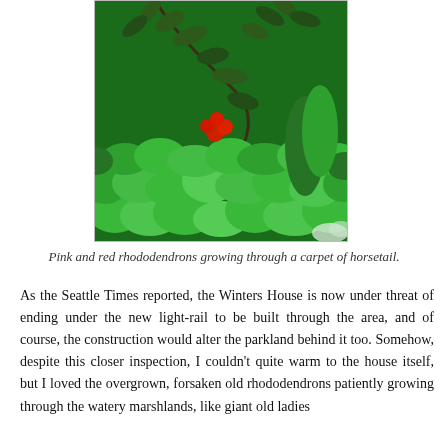[Figure (photo): Close-up photograph of lush green horsetail plants forming a carpet, with rhododendron branches bearing pink and red flowers growing through them.]
Pink and red rhododendrons growing through a carpet of horsetail.
As the Seattle Times reported, the Winters House is now under threat of ending under the new light-rail to be built through the area, and of course, the construction would alter the parkland behind it too. Somehow, despite this closer inspection, I couldn't quite warm to the house itself, but I loved the overgrown, forsaken old rhododendrons patiently growing through the watery marshlands, like giant old ladies